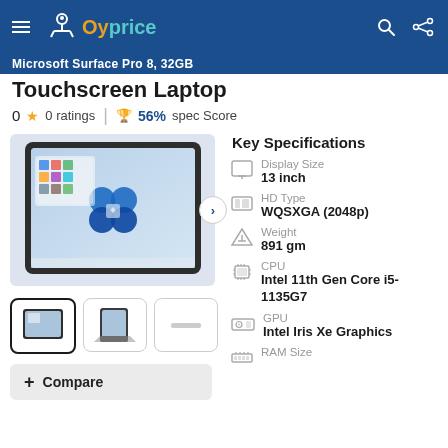Oyprice
Touchscreen Laptop
0  0 ratings  |  56% spec Score
[Figure (photo): Product photo of Microsoft Surface touchscreen laptop/tablet showing Windows 11 start menu on screen, in dark grey/graphite color]
[Figure (photo): Three product thumbnails: front view of tablet, side/kickstand view, and a bar/accessory]
+ Compare
Key Specifications
Display Size
13 inch
HD Type
WQSXGA (2048p)
Weight
891 gm
CPU
Intel 11th Gen Core i5-1135G7
GPU
Intel Iris Xe Graphics
RAM Size